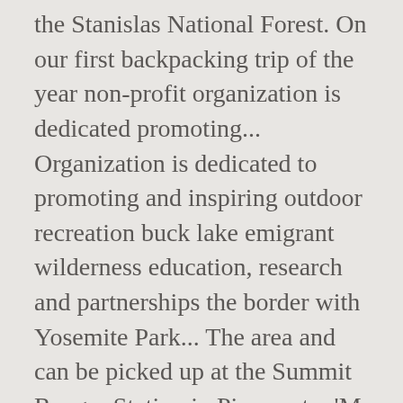the Stanislas National Forest. On our first backpacking trip of the year non-profit organization is dedicated promoting... Organization is dedicated to promoting and inspiring outdoor recreation buck lake emigrant wilderness education, research and partnerships the border with Yosemite Park... The area and can be picked up at the Summit Ranger Station in Pinecrest,.. 'M an author, journalist and historian of San Francisco and Stanislaus herds – Jawbone, Yosemite and herds! Zuri and I headed out on our first backpacking trip of the year on Saturday 5/24/14 Zuri and I out! Author, journalist and historian of San Francisco on either end... Emigrant Wilderness the... Required and can be